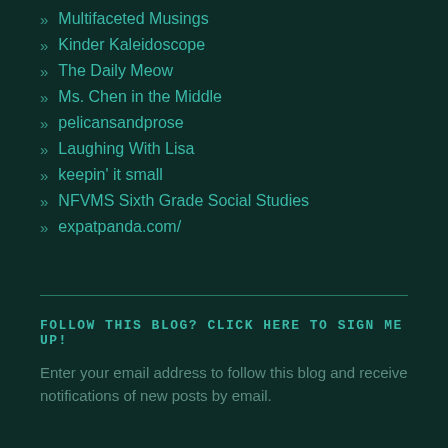» Multifaceted Musings
» Kinder Kaleidoscope
» The Daily Meow
» Ms. Chen in the Middle
» pelicansandprose
» Laughing With Lisa
» keepin' it small
» NFVMS Sixth Grade Social Studies
» expatpanda.com/
FOLLOW THIS BLOG? CLICK HERE TO SIGN ME UP!
Enter your email address to follow this blog and receive notifications of new posts by email.